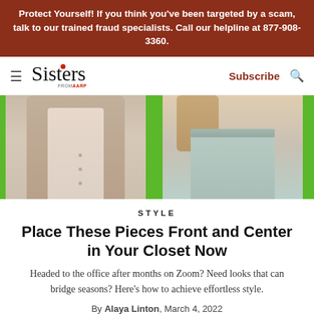Protect Yourself! If you think you've been targeted by a scam, talk to our trained fraud specialists. Call our helpline at 877-908-3360.
Sisters from AARP — Subscribe
[Figure (photo): Fashion photo showing two models: left model wearing beige/taupe cardigan and light pink top, right model wearing brown bomber jacket and light mint/sage wide-leg trousers, both against a bright green background.]
STYLE
Place These Pieces Front and Center in Your Closet Now
Headed to the office after months on Zoom? Need looks that can bridge seasons? Here's how to achieve effortless style.
By Alaya Linton, March 4, 2022